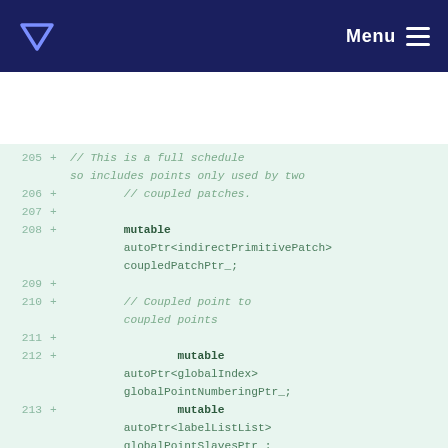Menu
205 + // This is a full schedule so includes points only used by two
206 + // coupled patches.
207 +
208 + mutable autoPtr<indirectPrimitivePatch> coupledPatchPtr_;
209 +
210 + // Coupled point to coupled points
211 +
212 + mutable autoPtr<globalIndex> globalPointNumberingPtr_;
213 + mutable autoPtr<labelListList> globalPointSlavesPtr_;
214 + mutable autoPtr<mapDistribute> globalPointSlavesMapPtr_;